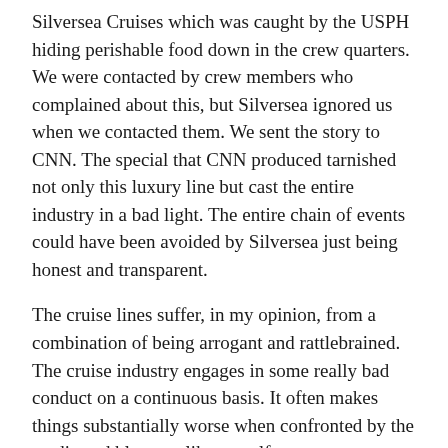Silversea Cruises which was caught by the USPH hiding perishable food down in the crew quarters. We were contacted by crew members who complained about this, but Silversea ignored us when we contacted them. We sent the story to CNN. The special that CNN produced tarnished not only this luxury line but cast the entire industry in a bad light. The entire chain of events could have been avoided by Silversea just being honest and transparent.
The cruise lines suffer, in my opinion, from a combination of being arrogant and rattlebrained. The cruise industry engages in some really bad conduct on a continuous basis. It often makes things substantially worse when confronted by the media and bloggers like myself.
Last week, former crew members sent us video and